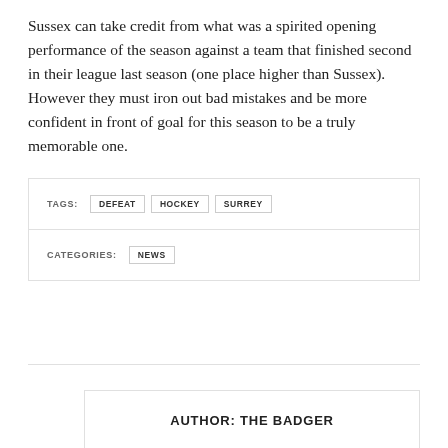Sussex can take credit from what was a spirited opening performance of the season against a team that finished second in their league last season (one place higher than Sussex). However they must iron out bad mistakes and be more confident in front of goal for this season to be a truly memorable one.
TAGS: DEFEAT HOCKEY SURREY
CATEGORIES: NEWS
AUTHOR: THE BADGER